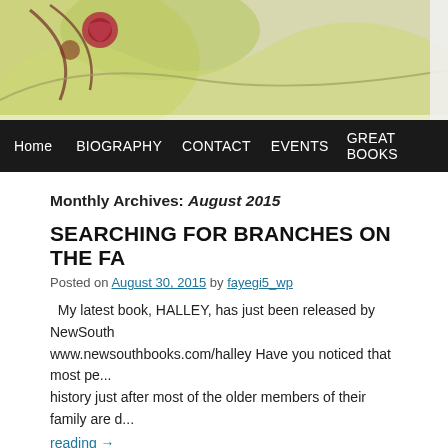[Figure (illustration): Decorative blog header illustration with colorful artistic imagery featuring curved organic shapes in yellow-green tones]
Home | BIOGRAPHY | CONTACT | EVENTS | GREAT BOOKS
Monthly Archives: August 2015
SEARCHING FOR BRANCHES ON THE FA...
Posted on August 30, 2015 by fayegi5_wp
My latest book, HALLEY, has just been released by NewSouth... www.newsouthbooks.com/halley Have you noticed that most pe... history just after most of the older members of their family are d...
reading →
Posted in Uncategorized | Leave a comment